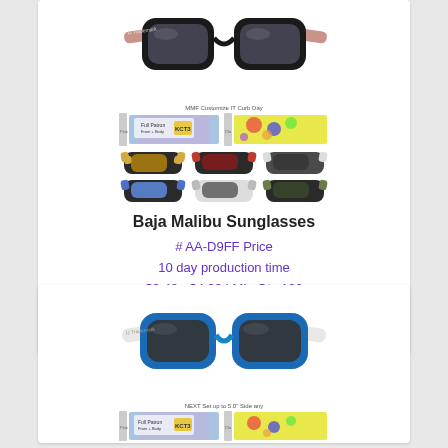[Figure (photo): Baja Malibu Sunglasses product photos showing main pair of black sunglasses with pink arms, color swatch strip, and multiple color variant pairs]
Baja Malibu Sunglasses
# AA-D9FF Price
10 day production time
$2.48 - $4.33 | Min Qty 100
[Figure (photo): Second sunglasses product photo showing blue and white framed sunglasses with color swatch strip below]